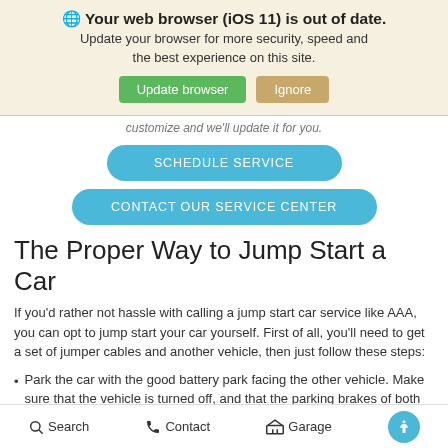[Figure (screenshot): Browser update notification banner with globe icon, bold title 'Your web browser (iOS 11) is out of date.', subtitle text, and two buttons: 'Update browser' (green) and 'Ignore' (tan/gold)]
customize and we'll update it for you.
SCHEDULE SERVICE
CONTACT OUR SERVICE CENTER
The Proper Way to Jump Start a Car
If you'd rather not hassle with calling a jump start car service like AAA, you can opt to jump start your car yourself. First of all, you'll need to get a set of jumper cables and another vehicle, then just follow these steps:
Park the car with the good battery park facing the other vehicle. Make sure that the vehicle is turned off, and that the parking brakes of both vehicles are engaged.
Search   Contact   Garage   (accessibility icon)